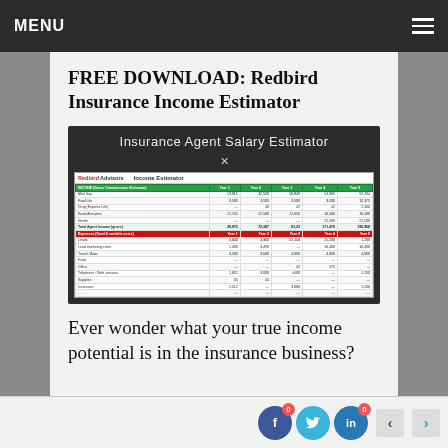MENU
FREE DOWNLOAD: Redbird Insurance Income Estimator
[Figure (screenshot): Screenshot of Redbird Advisors Insurance Agent Salary Estimator spreadsheet, showing Income Estimator table with green header rows (Year 1 through Year 5 columns) for income items and a red header section for Expenses, with various financial rows and totals.]
Ever wonder what your true income potential is in the insurance business?